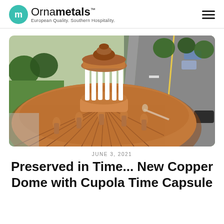Ornametals™ — European Quality. Southern Hospitality.
[Figure (photo): Aerial drone photo of a copper dome roof with white columned cupola at center, viewed from above. A street with cars and trees is visible in the background to the right.]
JUNE 3, 2021
Preserved in Time... New Copper Dome with Cupola Time Capsule